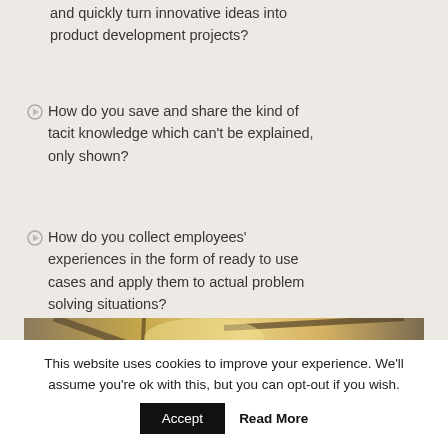and quickly turn innovative ideas into product development projects?
How do you save and share the kind of tacit knowledge which can't be explained, only shown?
How do you collect employees' experiences in the form of ready to use cases and apply them to actual problem solving situations?
[Figure (photo): A photograph showing structural elements with warm golden/yellow lighting, appearing to be beams or rods crossing diagonally.]
This website uses cookies to improve your experience. We'll assume you're ok with this, but you can opt-out if you wish. Accept Read More